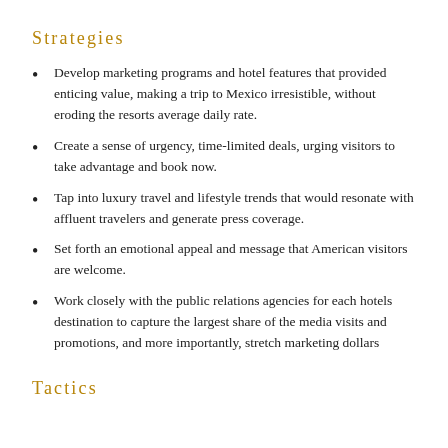Strategies
Develop marketing programs and hotel features that provided enticing value, making a trip to Mexico irresistible, without eroding the resorts average daily rate.
Create a sense of urgency, time-limited deals, urging visitors to take advantage and book now.
Tap into luxury travel and lifestyle trends that would resonate with affluent travelers and generate press coverage.
Set forth an emotional appeal and message that American visitors are welcome.
Work closely with the public relations agencies for each hotels destination to capture the largest share of the media visits and promotions, and more importantly, stretch marketing dollars
Tactics